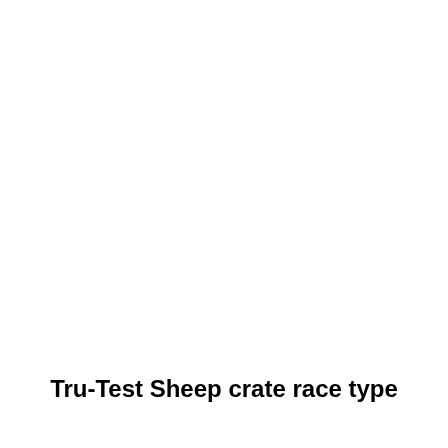Tru-Test Sheep crate race type